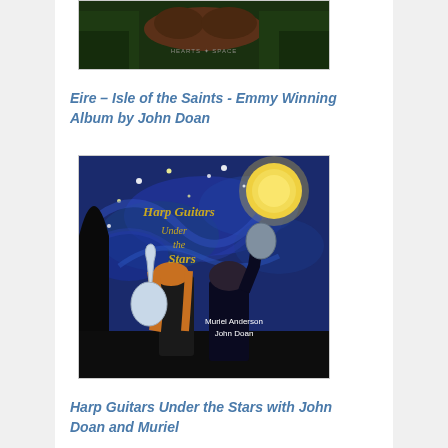[Figure (photo): Album cover image at top - Eire Isle of the Saints, shows dark green landscape with text 'hearts of space' visible]
Eire – Isle of the Saints - Emmy Winning Album by John Doan
[Figure (illustration): Album cover for Harp Guitars Under the Stars - Van Gogh Starry Night style illustration with two figures holding harp guitars looking at the sky. Text reads 'Harp Guitars Under the Stars - Muriel Anderson John Doan']
Harp Guitars Under the Stars with John Doan and Muriel